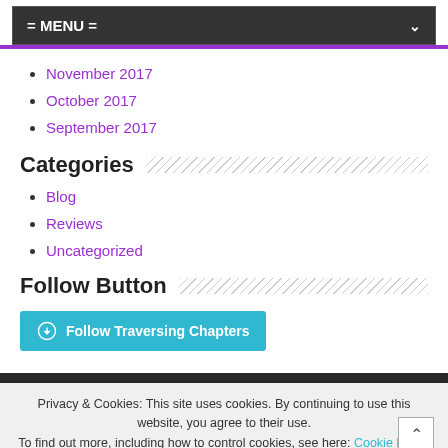= MENU =
November 2017
October 2017
September 2017
Categories
Blog
Reviews
Uncategorized
Follow Button
[Figure (other): Follow Traversing Chapters WordPress follow button]
Privacy & Cookies: This site uses cookies. By continuing to use this website, you agree to their use. To find out more, including how to control cookies, see here: Cookie Policy